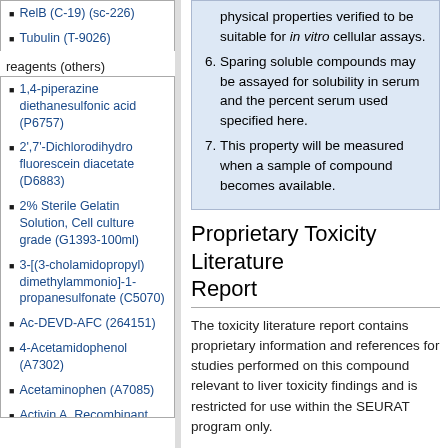RelB (C-19) (sc-226)
Tubulin (T-9026)
reagents (others)
1,4-piperazine diethanesulfonic acid (P6757)
2',7'-Dichlorodihydrofluorescein diacetate (D6883)
2% Sterile Gelatin Solution, Cell culture grade (G1393-100ml)
3-[(3-cholamidopropyl) dimethylammonio]-1-propanesulfonate (C5070)
Ac-DEVD-AFC (264151)
4-Acetamidophenol (A7302)
Acetaminophen (A7085)
Activin A, Recombinant Human
physical properties verified to be suitable for in vitro cellular assays.
Sparing soluble compounds may be assayed for solubility in serum and the percent serum used specified here.
This property will be measured when a sample of compound becomes available.
Proprietary Toxicity Literature Report
The toxicity literature report contains proprietary information and references for studies performed on this compound relevant to liver toxicity findings and is restricted for use within the SEURAT program only.
Toxicity Report
Human Adverse Events
The following data table has been mined